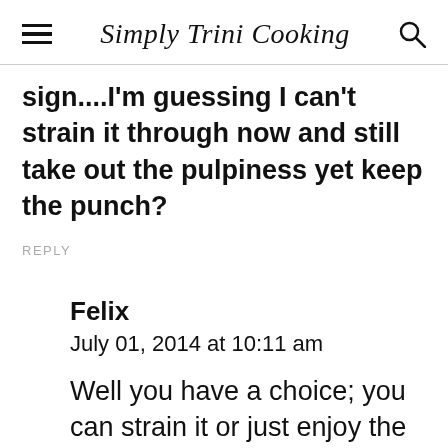Simply Trini Cooking
sign....I'm guessing I can't strain it through now and still take out the pulpiness yet keep the punch?
REPLY
Felix
July 01, 2014 at 10:11 am
Well you have a choice; you can strain it or just enjoy the pulp.